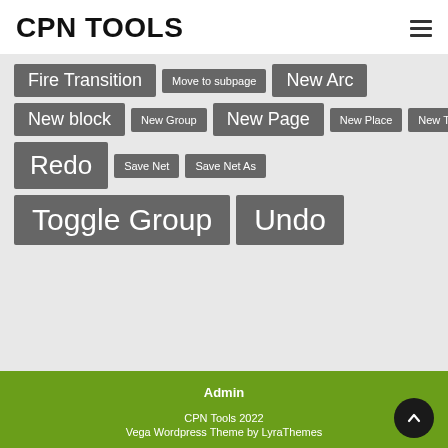CPN TOOLS
Fire Transition
Move to subpage
New Arc
New block
New Group
New Page
New Place
New Transition
Redo
Save Net
Save Net As
Toggle Group
Undo
Admin
CPN Tools 2022
Vega Wordpress Theme by LyraThemes